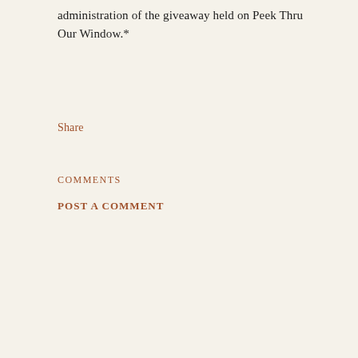administration of the giveaway held on Peek Thru Our Window.*
Share
COMMENTS
POST A COMMENT